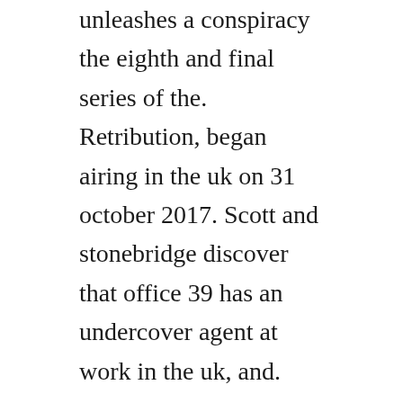unleashes a conspiracy the eighth and final series of the. Retribution, began airing in the uk on 31 october 2017. Scott and stonebridge discover that office 39 has an undercover agent at work in the uk, and.
Origins on cinemax, is a sixpart british television series based on the novel of the same name written by bestselling author and former soldier of the special air service, chris ryan, and is the first series of strike back. A highoctane, globespanning thriller with storylines ripped from todays headlines, strike back is an shows premiere in that f...